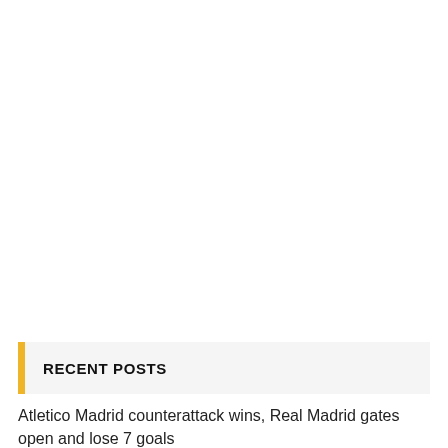RECENT POSTS
Atletico Madrid counterattack wins, Real Madrid gates open and lose 7 goals